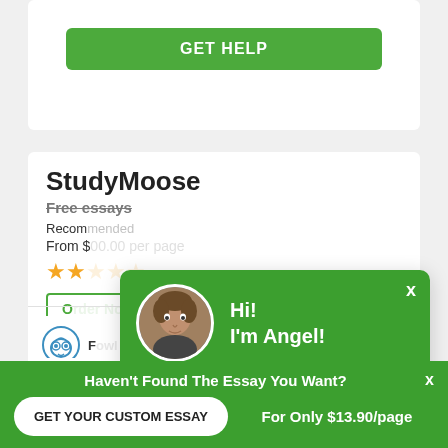[Figure (screenshot): GET HELP green button at top of page]
StudyMoose
Free essays
Recommended
From $
[Figure (screenshot): Two gold star rating icons]
[Figure (screenshot): Chat popup with avatar showing Hi! I'm Angel! Would you like to get a custom essay? How about receiving a customized one? Check it out]
[Figure (screenshot): Owl logo icon]
From $20.00 per page
4.5 / 5
[Figure (screenshot): Green chat message button (floating action button)]
Haven't Found The Essay You Want?
GET YOUR CUSTOM ESSAY
For Only $13.90/page